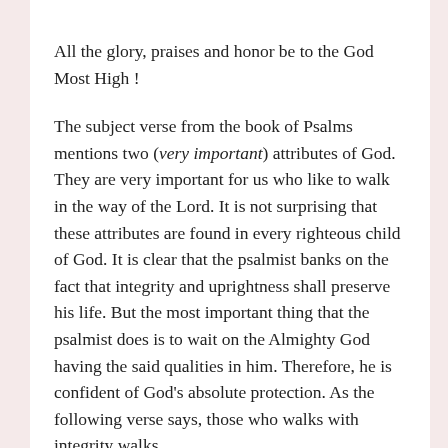All the glory, praises and honor be to the God Most High !
The subject verse from the book of Psalms mentions two (very important) attributes of God. They are very important for us who like to walk in the way of the Lord. It is not surprising that these attributes are found in every righteous child of God. It is clear that the psalmist banks on the fact that integrity and uprightness shall preserve his life. But the most important thing that the psalmist does is to wait on the Almighty God having the said qualities in him. Therefore, he is confident of God's absolute protection. As the following verse says, those who walks with integrity walks